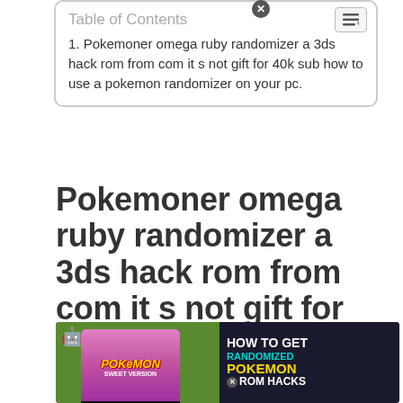1. Pokemoner omega ruby randomizer a 3ds hack rom from com it s not gift for 40k sub how to use a pokemon randomizer on your pc.
Pokemoner omega ruby randomizer a 3ds hack rom from com it s not gift for 40k sub how to use a pokemon randomizer on your pc.
[Figure (photo): Thumbnail image showing a smartphone with Pokemon game on screen on a green background (left), and text 'HOW TO GET RANDOMIZED POKEMON ROM HACKS' on dark background (right)]